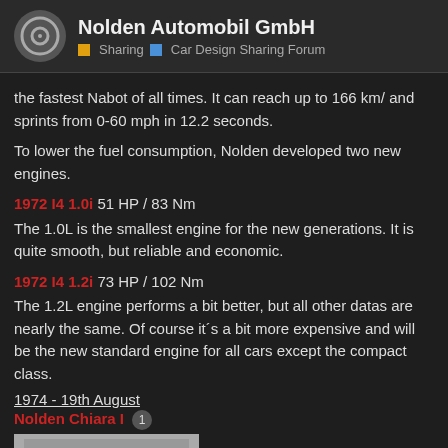Nolden Automobil GmbH — Sharing / Car Design Sharing Forum
the fastest Nabot of all times. It can reach up to 166 km/ and sprints from 0-60 mph in 12.2 seconds.
To lower the fuel consumption, Nolden developed two new engines.
1972 I4 1.0i 51 HP / 83 Nm
The 1.0L is the smallest engine for the new generations. It is quite smooth, but reliable and economic.
1972 I4 1.2i 73 HP / 102 Nm
The 1.2L engine performs a bit better, but all other datas are nearly the same. Of course it´s a bit more expensive and will be the new standard engine for all cars except the compact class.
1974 - 19th August
Nolden Chiara I
[Figure (photo): Front view of a teal/turquoise car (Nolden Chiara I) rendered in a garage setting]